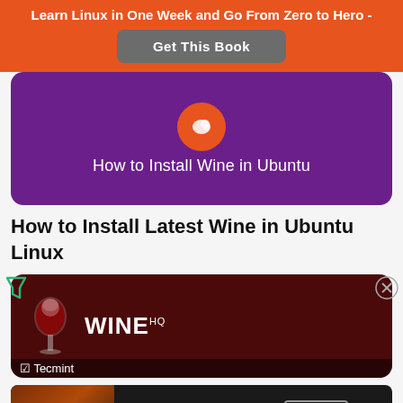Learn Linux in One Week and Go From Zero to Hero -
Get This Book
[Figure (screenshot): Purple card with orange circle icon and text 'How to Install Wine in Ubuntu']
How to Install Latest Wine in Ubuntu Linux
[Figure (screenshot): Dark red Wine HQ card with wine glass image, WINE HQ logo, and Tecmint branding at bottom]
[Figure (screenshot): Seamless food delivery advertisement with pizza image, seamless logo in red, and ORDER NOW button]